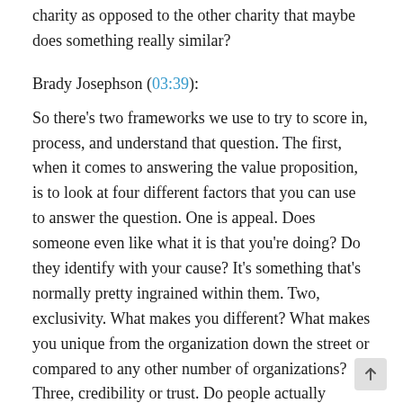charity as opposed to the other charity that maybe does something really similar?
Brady Josephson (03:39):
So there's two frameworks we use to try to score in, process, and understand that question. The first, when it comes to answering the value proposition, is to look at four different factors that you can use to answer the question. One is appeal. Does someone even like what it is that you're doing? Do they identify with your cause? It's something that's normally pretty ingrained within them. Two, exclusivity. What makes you different? What makes you unique from the organization down the street or compared to any other number of organizations? Three, credibility or trust. Do people actually believe in you and what you s— Is there a third party validation that can say, "Yes, this quality organization."